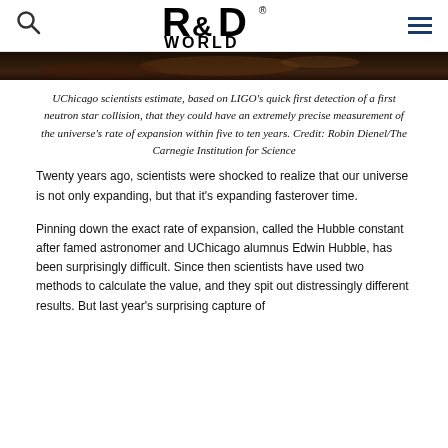[R&D WORLD logo with search and menu icons]
[Figure (photo): Dark astronomical image strip showing a neutron star collision or space scene in dark brown/orange tones]
UChicago scientists estimate, based on LIGO's quick first detection of a first neutron star collision, that they could have an extremely precise measurement of the universe's rate of expansion within five to ten years. Credit: Robin Dienel/The Carnegie Institution for Science
Twenty years ago, scientists were shocked to realize that our universe is not only expanding, but that it's expanding fasterover time.
Pinning down the exact rate of expansion, called the Hubble constant after famed astronomer and UChicago alumnus Edwin Hubble, has been surprisingly difficult. Since then scientists have used two methods to calculate the value, and they spit out distressingly different results. But last year's surprising capture of